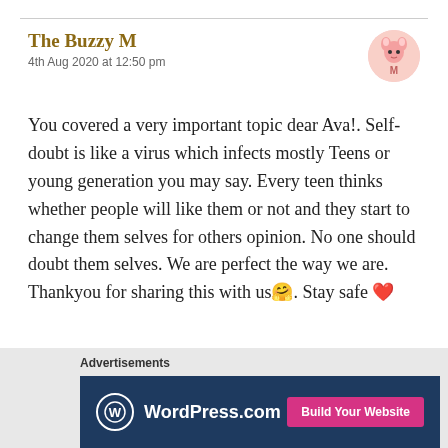The Buzzy M — 4th Aug 2020 at 12:50 pm
You covered a very important topic dear Ava!. Self-doubt is like a virus which infects mostly Teens or young generation you may say. Every teen thinks whether people will like them or not and they start to change them selves for others opinion. No one should doubt them selves. We are perfect the way we are. Thankyou for sharing this with us🤗. Stay safe 🤍
★ Liked by 2 people
Advertisements
[Figure (logo): WordPress.com advertisement banner with logo and 'Build Your Website' button]